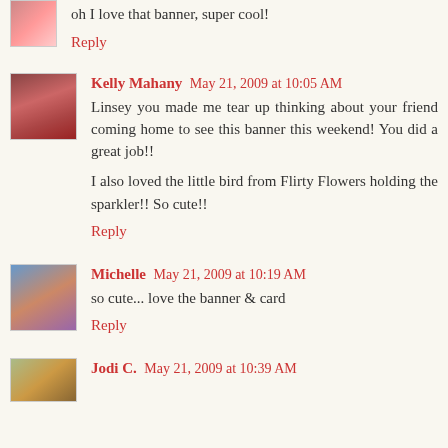oh I love that banner, super cool!
Reply
Kelly Mahany May 21, 2009 at 10:05 AM
Linsey you made me tear up thinking about your friend coming home to see this banner this weekend! You did a great job!!
I also loved the little bird from Flirty Flowers holding the sparkler!! So cute!!
Reply
Michelle May 21, 2009 at 10:19 AM
so cute... love the banner & card
Reply
Jodi C. May 21, 2009 at 10:39 AM